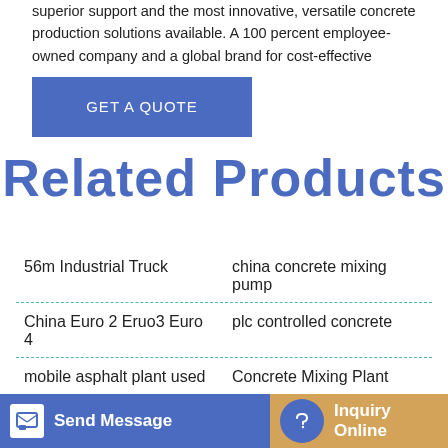superior support and the most innovative, versatile concrete production solutions available. A 100 percent employee-owned company and a global brand for cost-effective
GET A QUOTE
Related Products
56m Industrial Truck
china concrete mixing pump
China Euro 2 Eruo3 Euro 4
plc controlled concrete
mobile asphalt plant used
Concrete Mixing Plant
Concrete Boom Pump Sale
25 180 concrete mixing
Send Message
Inquiry Online